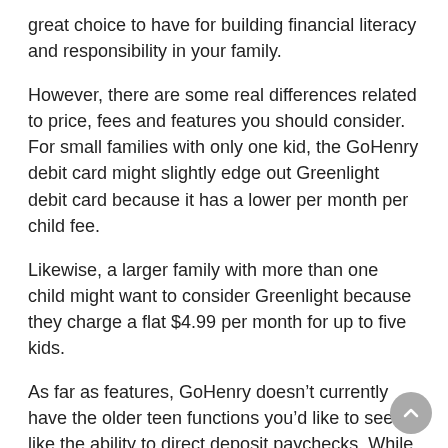great choice to have for building financial literacy and responsibility in your family.
However, there are some real differences related to price, fees and features you should consider. For small families with only one kid, the GoHenry debit card might slightly edge out Greenlight debit card because it has a lower per month per child fee.
Likewise, a larger family with more than one child might want to consider Greenlight because they charge a flat $4.99 per month for up to five kids.
As far as features, GoHenry doesn't currently have the older teen functions you'd like to see, like the ability to direct deposit paychecks. While it has this feature on its roadmap, currently, only Greenlight offers the direct deposit ability for a child.